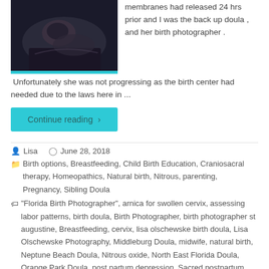[Figure (photo): A dark photograph showing a person resting, likely in a birth/medical setting.]
membranes had released 24 hrs prior and I was the back up doula , and her birth photographer .  Unfortunately she was not progressing as the birth center had needed due to the laws here in ...
Continue reading
Lisa   June 28, 2018
Birth options, Breastfeeding, Child Birth Education, Craniosacral therapy, Homeopathics, Natural birth, Nitrous, parenting, Pregnancy, Sibling Doula
"Florida Birth Photographer", arnica for swollen cervix, assessing labor patterns, birth doula, Birth Photographer, birth photographer st augustine, Breastfeeding, cervix, lisa olschewske birth doula, Lisa Olschewske Photography, Middleburg Doula, midwife, natural birth, Neptune Beach Doula, Nitrous oxide, North East Florida Doula, Orange Park Doula, post partum depression, Sacred postpartum doula, spontaneous labor, St Augustine birth photographer, St Augustine Doula, St Augustine Maternity Photographer, St Augustine Photographer